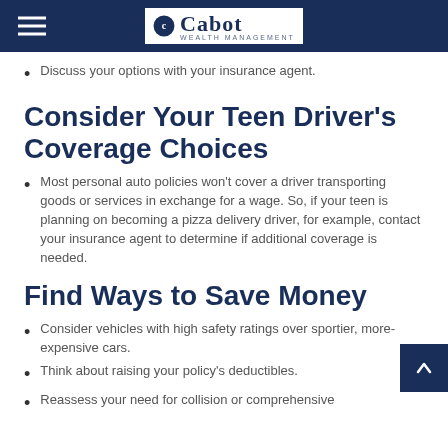Cabot Wealth Management
Discuss your options with your insurance agent.
Consider Your Teen Driver’s Coverage Choices
Most personal auto policies won’t cover a driver transporting goods or services in exchange for a wage. So, if your teen is planning on becoming a pizza delivery driver, for example, contact your insurance agent to determine if additional coverage is needed.
Find Ways to Save Money
Consider vehicles with high safety ratings over sportier, more-expensive cars.
Think about raising your policy’s deductibles.
Reassess your need for collision or comprehensive